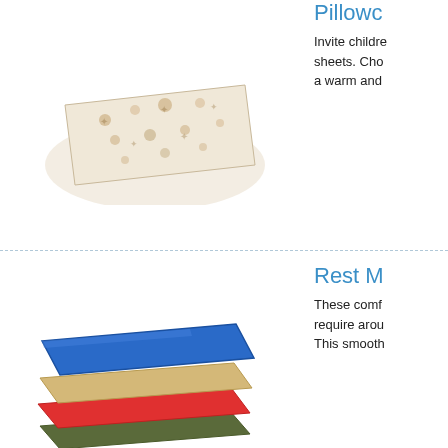[Figure (photo): Pillow case or sheet with floral pattern shown at angle, partially cropped at top of page]
Pillowc…
Invite childre… sheets. Cho… a warm and…
[Figure (photo): Stack of layered rest mats in blue, tan, red, and olive/dark green colors]
Rest M…
These comf… require arou… This smooth…
[Figure (photo): Loading spinner icon (dashed circle)]
Manila…
Manila 40 lb… markers, an…